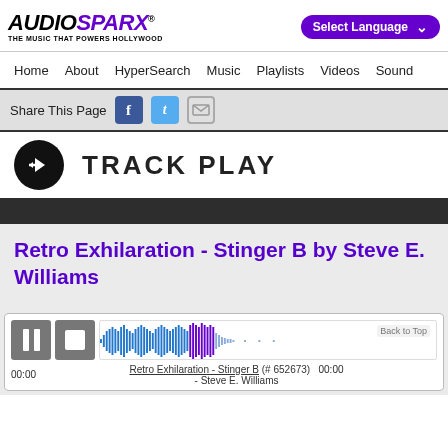AudioSparx - The Music That Powers Hollywood
[Figure (screenshot): Navigation bar with Home, About, HyperSearch, Music, Playlists, Videos, Sound links]
[Figure (screenshot): Share This Page bar with Facebook, Twitter, and email icons]
TRACK PLAY
Retro Exhilaration - Stinger B by Steve E. Williams
[Figure (screenshot): Audio player with pause/stop controls, waveform display, track info: Retro Exhilaration - Stinger B (# 652673) - Steve E. Williams, 00:00 timestamps]